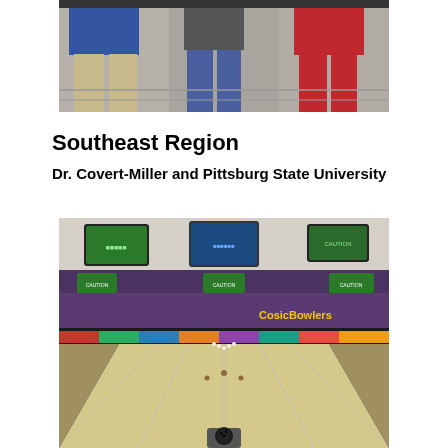[Figure (photo): Group photo of three people (partial view, waist down) standing together; one in blue shirt and khaki pants, one in jeans, one in red outfit.]
Southeast Region
Dr. Covert-Miller and Pittsburg State University
[Figure (photo): Interior of a bowling alley showing lanes stretching toward pins in the distance, with scoreboard monitors and colorful lane bumpers visible in the background.]